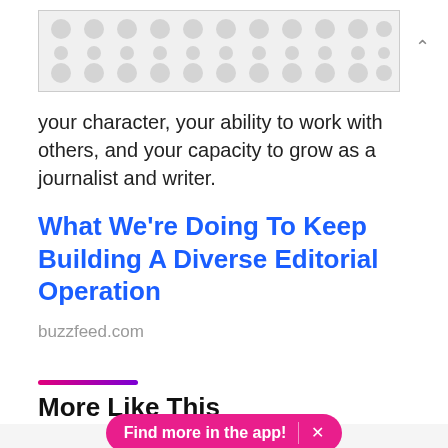[Figure (other): Advertisement banner with repeating dot/circle pattern on light gray background]
your character, your ability to work with others, and your capacity to grow as a journalist and writer.
What We're Doing To Keep Building A Diverse Editorial Operation
buzzfeed.com
More Like This
Find more in the app!